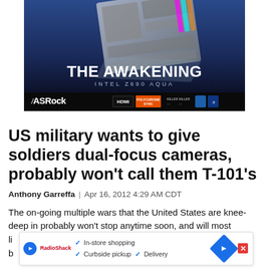[Figure (screenshot): ASRock advertisement banner for Intel Z690 AQUA motherboard titled 'THE AWAKENING' with HDMI, Polychrome Sync, Killer, and Intel Core badges]
US military wants to give soldiers dual-focus cameras, probably won't call them T-101's
Anthony Garreffa | Apr 16, 2012 4:29 AM CDT
The on-going multiple wars that the United States are knee-deep in probably won't stop anytime soon, and will most li[kely affect] ryone we're b[eing told.] orea and th[e...]
[Figure (screenshot): Overlay ad showing In-store shopping, Curbside pickup, Delivery options with blue arrow icon and red X close button]